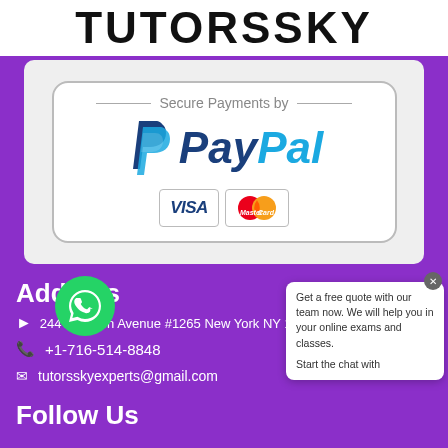[Figure (logo): TUTORSSKY logo in bold black text on white background]
[Figure (infographic): Secure Payments by PayPal banner with VISA and MasterCard logos inside a rounded rectangle]
Address
244 Madison Avenue #1265 New York NY 10
+1-716-514-8848
tutorsskyexperts@gmail.com
Follow Us
[Figure (infographic): WhatsApp green circle icon overlay]
Get a free quote with our team now. We will help you in your online exams and classes. Start the chat with